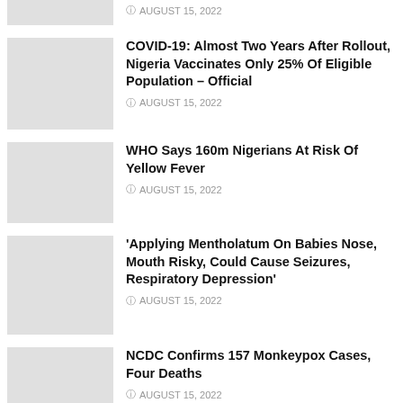AUGUST 15, 2022
COVID-19: Almost Two Years After Rollout, Nigeria Vaccinates Only 25% Of Eligible Population – Official
AUGUST 15, 2022
WHO Says 160m Nigerians At Risk Of Yellow Fever
AUGUST 15, 2022
'Applying Mentholatum On Babies Nose, Mouth Risky, Could Cause Seizures, Respiratory Depression'
AUGUST 15, 2022
NCDC Confirms 157 Monkeypox Cases, Four Deaths
AUGUST 15, 2022
COVID-19 Kills Over 255,000 In Africa As Cases